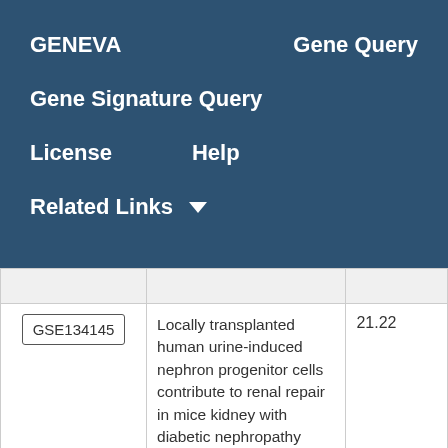GENEVA   Gene Query   Gene Signature Query   License   Help   Related Links
|  | Description | Score |
| --- | --- | --- |
| GSE134145 | Locally transplanted human urine-induced nephron progenitor cells contribute to renal repair in mice kidney with diabetic nephropathy | 21.22 |
|  |  |  |